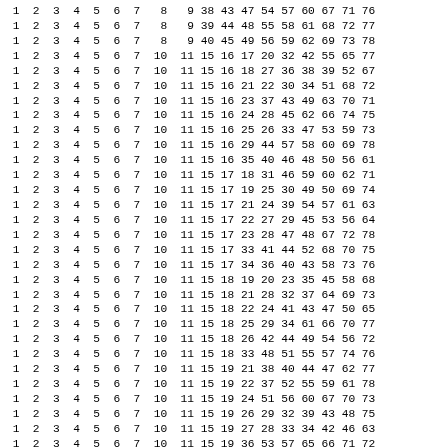1 2 3 4 5 6 7 8 9 38 43 47 54 57 60 67 71 76
1 2 3 4 5 6 7 8 9 39 44 48 55 58 61 68 72 77
1 2 3 4 5 6 7 8 9 40 45 49 56 59 62 69 73 78
1 2 3 4 5 6 7 10 11 15 16 17 20 32 42 55 65 77
1 2 3 4 5 6 7 10 11 15 16 18 27 36 38 39 52 67
1 2 3 4 5 6 7 10 11 15 16 21 22 30 34 51 68 72
1 2 3 4 5 6 7 10 11 15 16 23 37 43 49 63 70 71
1 2 3 4 5 6 7 10 11 15 16 24 28 45 62 66 74 75
1 2 3 4 5 6 7 10 11 15 16 25 26 33 47 53 59 73
1 2 3 4 5 6 7 10 11 15 16 29 44 57 58 60 69 78
1 2 3 4 5 6 7 10 11 15 16 35 40 46 48 50 56 61
1 2 3 4 5 6 7 10 11 15 17 18 31 46 59 60 62 71
1 2 3 4 5 6 7 10 11 15 17 19 25 30 49 50 69 74
1 2 3 4 5 6 7 10 11 15 17 21 24 39 54 57 61 63
1 2 3 4 5 6 7 10 11 15 17 22 27 29 45 53 56 64
1 2 3 4 5 6 7 10 11 15 17 23 28 47 48 67 72 78
1 2 3 4 5 6 7 10 11 15 17 33 41 44 52 68 70 75
1 2 3 4 5 6 7 10 11 15 17 34 36 40 43 58 73 76
1 2 3 4 5 6 7 10 11 15 18 19 20 23 35 45 58 68
1 2 3 4 5 6 7 10 11 15 18 21 28 32 37 64 69 73
1 2 3 4 5 6 7 10 11 15 18 22 24 41 43 47 50 65
1 2 3 4 5 6 7 10 11 15 18 25 29 34 61 66 70 77
1 2 3 4 5 6 7 10 11 15 18 26 42 44 49 54 56 72
1 2 3 4 5 6 7 10 11 15 18 33 48 51 55 57 74 76
1 2 3 4 5 6 7 10 11 15 19 21 38 40 44 47 62 77
1 2 3 4 5 6 7 10 11 15 19 22 37 52 55 59 61 78
1 2 3 4 5 6 7 10 11 15 19 24 51 56 60 67 70 73
1 2 3 4 5 6 7 10 11 15 19 26 29 32 39 43 48 75
1 2 3 4 5 6 7 10 11 15 19 27 28 33 34 42 46 63
1 2 3 4 5 6 7 10 11 15 19 36 53 57 65 66 71 72